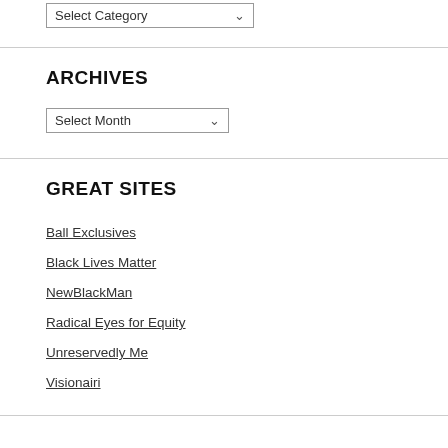Select Category
ARCHIVES
Select Month
GREAT SITES
Ball Exclusives
Black Lives Matter
NewBlackMan
Radical Eyes for Equity
Unreservedly Me
Visionairi